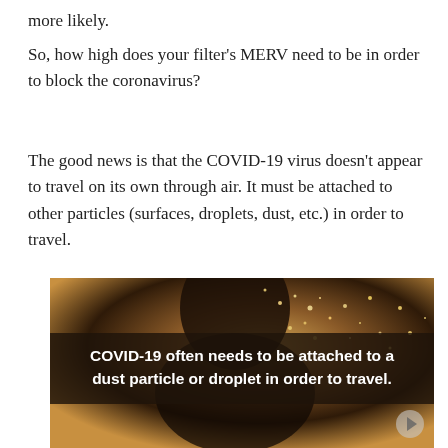more likely.
So, how high does your filter's MERV need to be in order to block the coronavirus?
The good news is that the COVID-19 virus doesn't appear to travel on its own through air. It must be attached to other particles (surfaces, droplets, dust, etc.) in order to travel.
[Figure (photo): A person shown in silhouette with illuminated dust particles visible in the air around them, warm golden-brown tones. A dark caption bar overlays the image with bold white text reading: COVID-19 often needs to be attached to a dust particle or droplet in order to travel.]